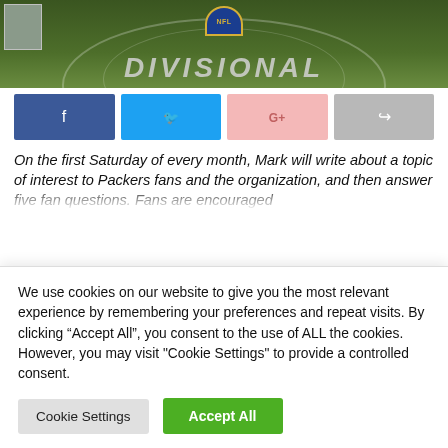[Figure (photo): NFL Divisional playoff game field with NFL shield logo and DIVISIONAL text painted on turf, with a small portrait thumbnail in top-left corner]
[Figure (infographic): Row of four social share buttons: Facebook (blue), Twitter (light blue), Google+ (light pink), and a forward/share button (gray)]
On the first Saturday of every month, Mark will write about a topic of interest to Packers fans and the organization, and then answer five fan questions. Fans are encouraged
We use cookies on our website to give you the most relevant experience by remembering your preferences and repeat visits. By clicking “Accept All”, you consent to the use of ALL the cookies. However, you may visit "Cookie Settings" to provide a controlled consent.